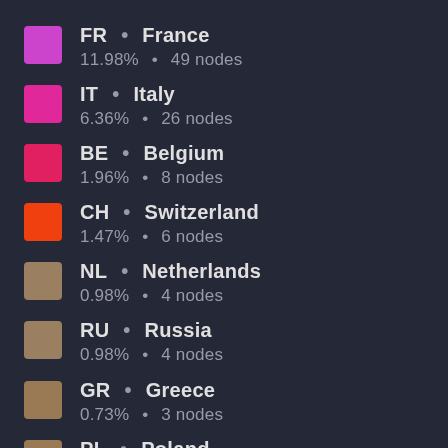FR • France
11.98% • 49 nodes
IT • Italy
6.36% • 26 nodes
BE • Belgium
1.96% • 8 nodes
CH • Switzerland
1.47% • 6 nodes
NL • Netherlands
0.98% • 4 nodes
RU • Russia
0.98% • 4 nodes
GR • Greece
0.73% • 3 nodes
PL • Poland
0.73% • 3 nodes